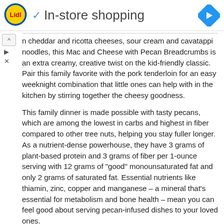[Figure (logo): Lidl logo – yellow circle with red Lidl text, blue border]
✓ In-store shopping
n cheddar and ricotta cheeses, sour cream and cavatappi noodles, this Mac and Cheese with Pecan Breadcrumbs is an extra creamy, creative twist on the kid-friendly classic. Pair this family favorite with the pork tenderloin for an easy weeknight combination that little ones can help with in the kitchen by stirring together the cheesy goodness.
This family dinner is made possible with tasty pecans, which are among the lowest in carbs and highest in fiber compared to other tree nuts, helping you stay fuller longer. As a nutrient-dense powerhouse, they have 3 grams of plant-based protein and 3 grams of fiber per 1-ounce serving with 12 grams of "good" monounsaturated fat and only 2 grams of saturated fat. Essential nutrients like thiamin, zinc, copper and manganese – a mineral that's essential for metabolism and bone health – mean you can feel good about serving pecan-infused dishes to your loved ones.